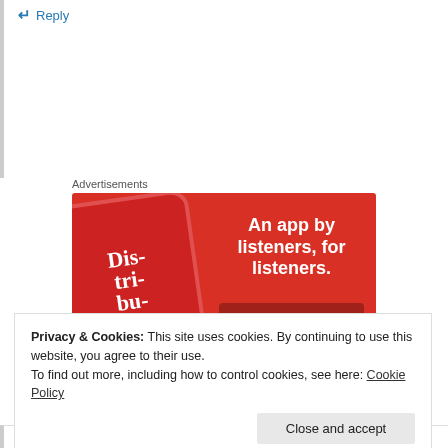↵ Reply
Advertisements
[Figure (illustration): Red advertisement banner for a podcast app showing a smartphone with 'Dis-tri-bu-ted' podcast cover, text 'An app by listeners, for listeners.' and a 'Download now' button]
Privacy & Cookies: This site uses cookies. By continuing to use this website, you agree to their use.
To find out more, including how to control cookies, see here: Cookie Policy
Close and accept